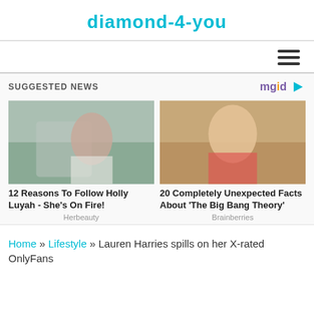diamond-4-you
[Figure (other): Hamburger menu icon (three horizontal bars)]
SUGGESTED NEWS
[Figure (logo): mgid logo with arrow icon]
[Figure (photo): Woman in white swimsuit posing on driftwood logs on a beach]
12 Reasons To Follow Holly Luyah - She's On Fire!
Herbeauty
[Figure (photo): Blonde woman in red/coral top from The Big Bang Theory TV show]
20 Completely Unexpected Facts About 'The Big Bang Theory'
Brainberries
Home » Lifestyle » Lauren Harries spills on her X-rated OnlyFans